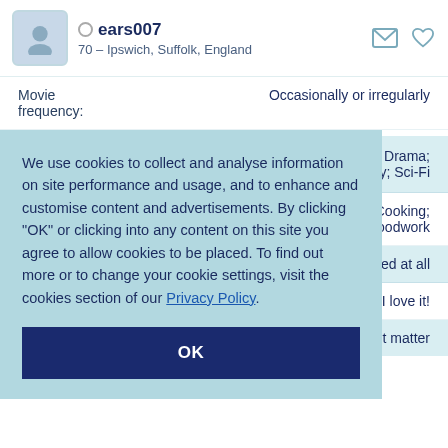ears007 — 70 – Ipswich, Suffolk, England
Movie frequency: Occasionally or irregularly
Movie preferences: Action; Adult; Comedy; Cult Classics; Drama; Mystery; Sci-Fi
We use cookies to collect and analyse information on site performance and usage, and to enhance and customise content and advertisements. By clicking "OK" or clicking into any content on this site you agree to allow cookies to be placed. To find out more or to change your cookie settings, visit the cookies section of our Privacy Policy.
OK
ot involved at all
I love it!
Doesn't matter